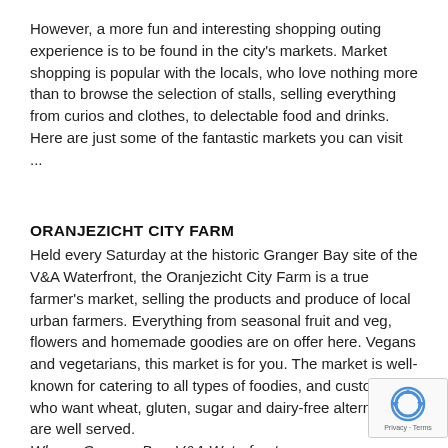However, a more fun and interesting shopping outing experience is to be found in the city's markets. Market shopping is popular with the locals, who love nothing more than to browse the selection of stalls, selling everything from curios and clothes, to delectable food and drinks. Here are just some of the fantastic markets you can visit ...
ORANJEZICHT CITY FARM
Held every Saturday at the historic Granger Bay site of the V&A Waterfront, the Oranjezicht City Farm is a true farmer's market, selling the products and produce of local urban farmers. Everything from seasonal fruit and veg, flowers and homemade goodies are on offer here. Vegans and vegetarians, this market is for you. The market is well-known for catering to all types of foodies, and customers who want wheat, gluten, sugar and dairy-free alternatives are well served.
Where: Granger Bay, V&A Waterfront